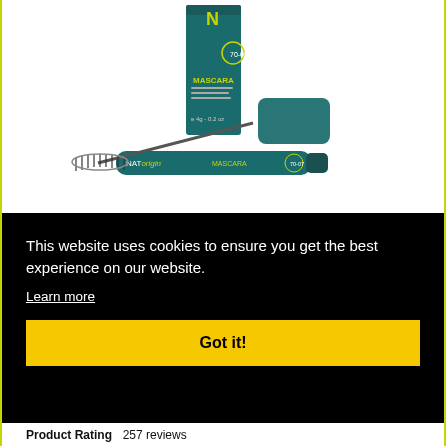[Figure (photo): Product photo of NATorigin mascara: a teal/dark green mascara tube and wand laid out next to its rectangular box packaging. The box shows the NATorigin brand logo with a yellow-green 'N' and text reading MASCARA and other product details. The mascara wand has a spiral brush tip.]
This website uses cookies to ensure you get the best experience on our website.
Learn more
Got it!
Product Rating  257 reviews